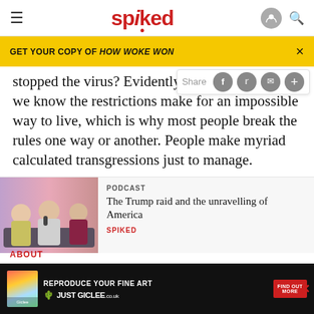spiked
GET YOUR COPY OF HOW WOKE WON
stopped the virus? Evidently no about the virus, we know the restrictions make for an impossible way to live, which is why most people break the rules one way or another. People make myriad calculated transgressions just to manage.
[Figure (photo): Three men seated, podcast recording setting with pink/purple background lighting. One holding a red object.]
PODCAST
The Trump raid and the unravelling of America
SPIKED
[Figure (infographic): Advertisement for Just Giclee fine art reproduction service, with colourful paint swatches and text 'REPRODUCE YOUR FINE ART JUST GICLEE.co.uk FIND OUT MORE']
ABOUT